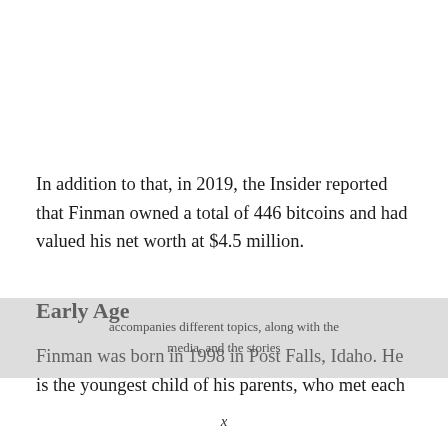In addition to that, in 2019, the Insider reported that Finman owned a total of 446 bitcoins and had valued his net worth at $4.5 million.
Early Age
Finman was born in 1998 in Post Falls, Idaho. He is the youngest child of his parents, who met each
x